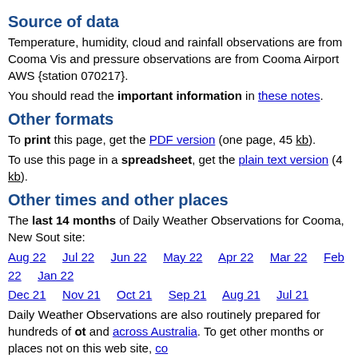Source of data
Temperature, humidity, cloud and rainfall observations are from Cooma Vis and pressure observations are from Cooma Airport AWS {station 070217}. You should read the important information in these notes.
Other formats
To print this page, get the PDF version (one page, 45 kb). To use this page in a spreadsheet, get the plain text version (4 kb).
Other times and other places
The last 14 months of Daily Weather Observations for Cooma, New Sout site:
Aug 22  Jul 22  Jun 22  May 22  Apr 22  Mar 22  Feb 22  Jan 22 Dec 21  Nov 21  Oct 21  Sep 21  Aug 21  Jul 21
Daily Weather Observations are also routinely prepared for hundreds of ot and across Australia. To get other months or places not on this web site, co
Climate statistics
If you are after long-term averages relevant to Cooma, New South Wales Cooma Airport AWS, Cooma Lambie Street, Cooma Visitors Centre, Corry Canberra Airport Comparison. Maps and tables of average conditions for locations across Australia are a
More information
If you are using these pages, you are deemed to have understood the imp They cover how the data are obtained, how they are processed, and what If you have any questions about this product, or you want any other weat contact us.